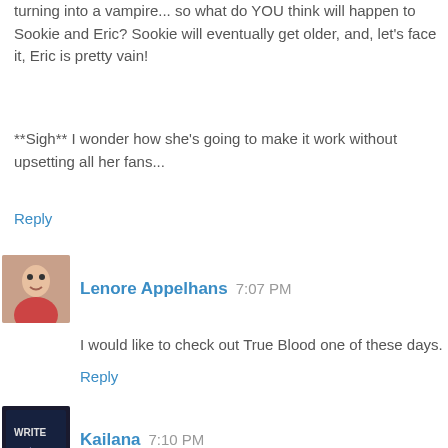turning into a vampire... so what do YOU think will happen to Sookie and Eric? Sookie will eventually get older, and, let's face it, Eric is pretty vain!
**Sigh** I wonder how she's going to make it work without upsetting all her fans...
Reply
Lenore Appelhans  7:07 PM
I would like to check out True Blood one of these days.
Reply
Kailana  7:10 PM
I really must read another book in this series! I have only read one and I wasn't blown away... I keep meaning to give it another try!
Reply